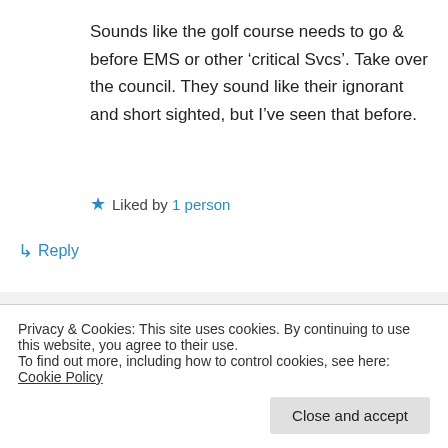Sounds like the golf course needs to go & before EMS or other ‘critical Svcs’. Take over the council. They sound like their ignorant and short sighted, but I’ve seen that before.
★ Liked by 1 person
↳ Reply
myotis9 on April 16, 2016 at 7:00 pm
Privacy & Cookies: This site uses cookies. By continuing to use this website, you agree to their use.
To find out more, including how to control cookies, see here: Cookie Policy